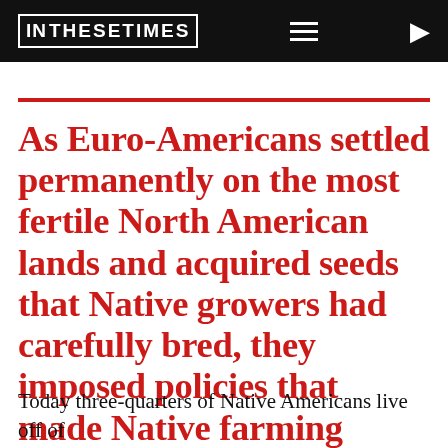IN THESE TIMES
As Euro-Americans settled permanently on the most fertile North American lands and acquired seeds that Native growers had carefully bred, they imposed policies that made Native farming practices impossible.
Today three-quarters of Native Americans live off of